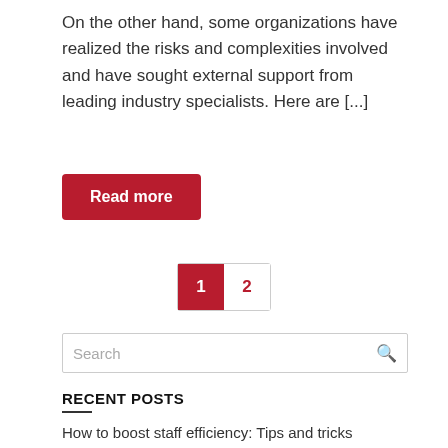On the other hand, some organizations have realized the risks and complexities involved and have sought external support from leading industry specialists. Here are [...]
Read more
1  2
Search
RECENT POSTS
How to boost staff efficiency: Tips and tricks
Game-changing business benefits of Microsoft